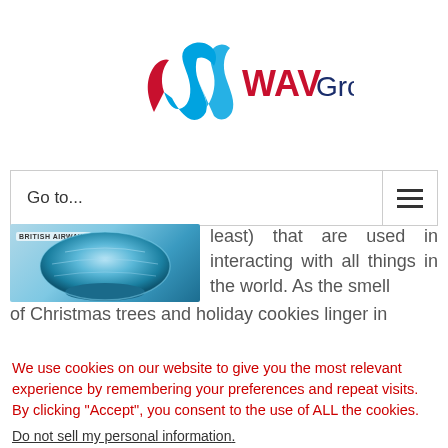[Figure (logo): WAV Group logo with stylized W in red and blue ribbon and 'WAVGroup' text in dark navy and blue]
Go to...
[Figure (photo): British Airways branded blue glass bowl ornament on white background]
least) that are used in interacting with all things in the world. As the smell of Christmas trees and holiday cookies linger in
We use cookies on our website to give you the most relevant experience by remembering your preferences and repeat visits. By clicking “Accept”, you consent to the use of ALL the cookies.
Do not sell my personal information.
Settings
Accept